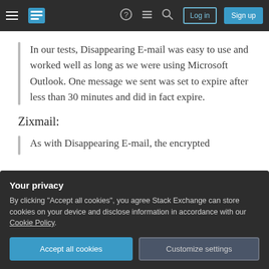Stack Exchange navigation bar with hamburger menu, logo, help, chat, search icons, Log in and Sign up buttons
In our tests, Disappearing E-mail was easy to use and worked well as long as we were using Microsoft Outlook. One message we sent was set to expire after less than 30 minutes and did in fact expire.
Zixmail:
As with Disappearing E-mail, the encrypted
Your privacy
By clicking "Accept all cookies", you agree Stack Exchange can store cookies on your device and disclose information in accordance with our Cookie Policy.
Accept all cookies
Customize settings